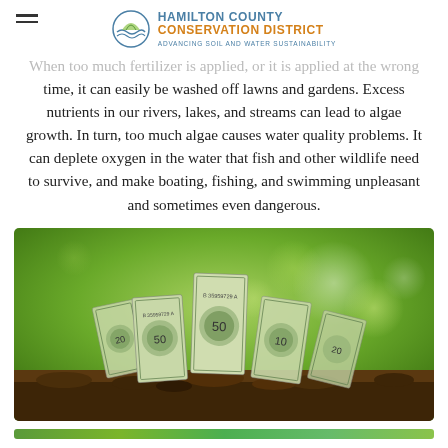Hamilton County Conservation District — Advancing Soil and Water Sustainability
When too much fertilizer is applied, or it is applied at the wrong time, it can easily be washed off lawns and gardens. Excess nutrients in our rivers, lakes, and streams can lead to algae growth. In turn, too much algae causes water quality problems. It can deplete oxygen in the water that fish and other wildlife need to survive, and make boating, fishing, and swimming unpleasant and sometimes even dangerous.
[Figure (photo): Dollar bills planted upright in soil with green bokeh background, suggesting money growing from the ground.]